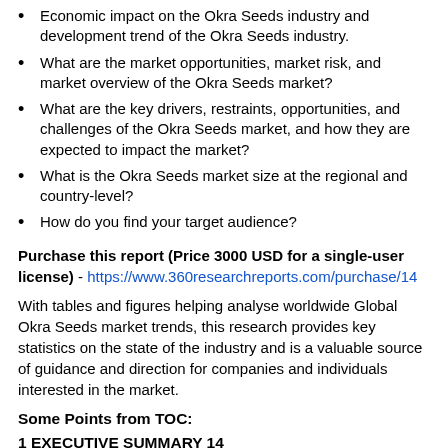Economic impact on the Okra Seeds industry and development trend of the Okra Seeds industry.
What are the market opportunities, market risk, and market overview of the Okra Seeds market?
What are the key drivers, restraints, opportunities, and challenges of the Okra Seeds market, and how they are expected to impact the market?
What is the Okra Seeds market size at the regional and country-level?
How do you find your target audience?
Purchase this report (Price 3000 USD for a single-user license) - https://www.360researchreports.com/purchase/14...
With tables and figures helping analyse worldwide Global Okra Seeds market trends, this research provides key statistics on the state of the industry and is a valuable source of guidance and direction for companies and individuals interested in the market.
Some Points from TOC:
1 EXECUTIVE SUMMARY 14